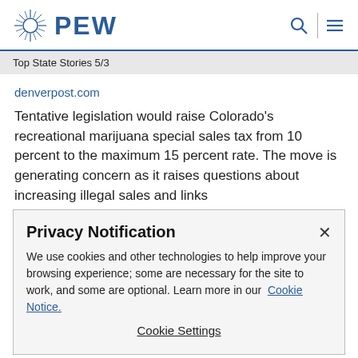PEW
Top State Stories 5/3
denverpost.com
Tentative legislation would raise Colorado's recreational marijuana special sales tax from 10 percent to the maximum 15 percent rate. The move is generating concern as it raises questions about increasing illegal sales and links
Privacy Notification
We use cookies and other technologies to help improve your browsing experience; some are necessary for the site to work, and some are optional. Learn more in our Cookie Notice.
Cookie Settings